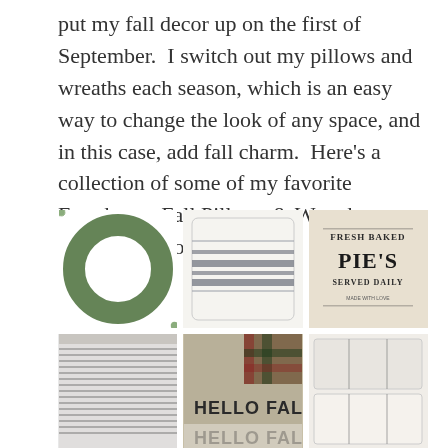put my fall decor up on the first of September. I switch out my pillows and wreaths each season, which is an easy way to change the look of any space, and in this case, add fall charm. Here's a collection of some of my favorite Farmhouse Fall Pillows & Wreaths–now, how do I choose?
[Figure (photo): 3x2 grid of farmhouse fall decor items: green wreath, gray striped pillow, Fresh Baked Pies pillow, ticking stripe pillow, Hello Fall pillow (partially visible), grain sack pillow (partially visible)]